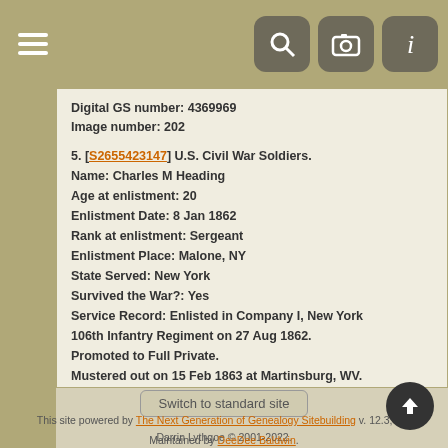Navigation bar with hamburger menu and icons
Digital GS number: 4369969
Image number: 202
5. [S2655423147] U.S. Civil War Soldiers.
Name: Charles M Heading
Age at enlistment: 20
Enlistment Date: 8 Jan 1862
Rank at enlistment: Sergeant
Enlistment Place: Malone, NY
State Served: New York
Survived the War?: Yes
Service Record: Enlisted in Company I, New York 106th Infantry Regiment on 27 Aug 1862. Promoted to Full Private. Mustered out on 15 Feb 1863 at Martinsburg, WV.
Birth Date: abt 1842
Sources: New York: Report of the Adjutant-General
Switch to standard site
This site powered by The Next Generation of Genealogy Sitebuilding v. 12.3, written by Darrin Lythgoe © 2001-2022. Maintained by DeeDee Baldwin.